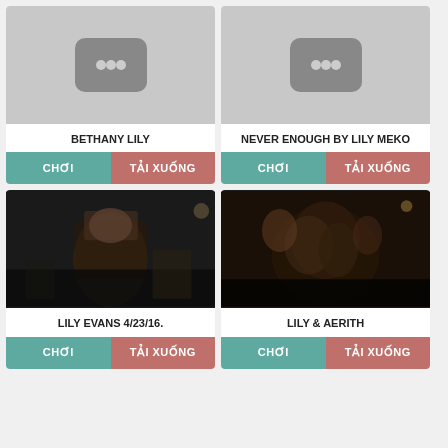[Figure (screenshot): Video thumbnail placeholder with YouTube-style grey icon]
BETHANY LILY
CHƠI
TẢI XUỐNG
[Figure (screenshot): Video thumbnail placeholder with YouTube-style grey icon]
NEVER ENOUGH BY LILY MEKO
CHƠI
TẢI XUỐNG
[Figure (photo): Dark photo of a person in black clothing on a stage]
LILY EVANS 4/23/16.
CHƠI
TẢI XUỐNG
[Figure (photo): Dark photo showing a person in dim lighting]
LILY & AERITH
CHƠI
TẢI XUỐNG